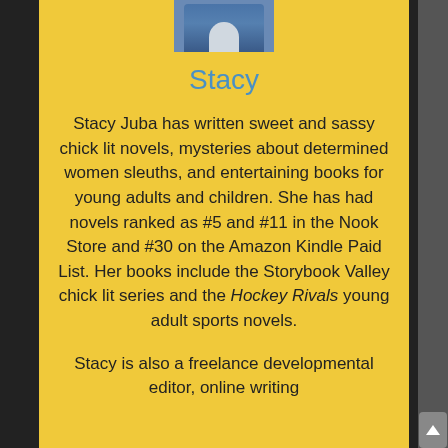[Figure (photo): Partial photo of a person at the top of the page]
Stacy
Stacy Juba has written sweet and sassy chick lit novels, mysteries about determined women sleuths, and entertaining books for young adults and children. She has had novels ranked as #5 and #11 in the Nook Store and #30 on the Amazon Kindle Paid List. Her books include the Storybook Valley chick lit series and the Hockey Rivals young adult sports novels.
Stacy is also a freelance developmental editor, online writing